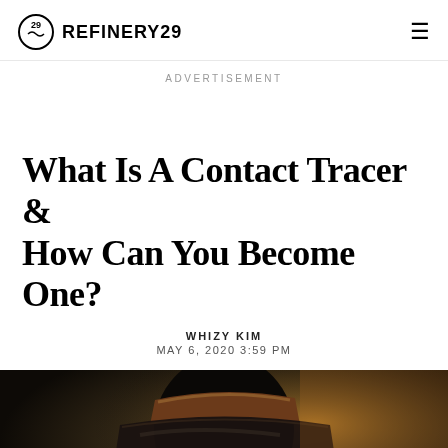REFINERY29
ADVERTISEMENT
What Is A Contact Tracer & How Can You Become One?
WHIZY KIM
MAY 6, 2020 3:59 PM
[Figure (photo): A person wearing a face shield and blue protective gear, photographed in dark dramatic lighting. The face shield has a brown strap and black visor.]